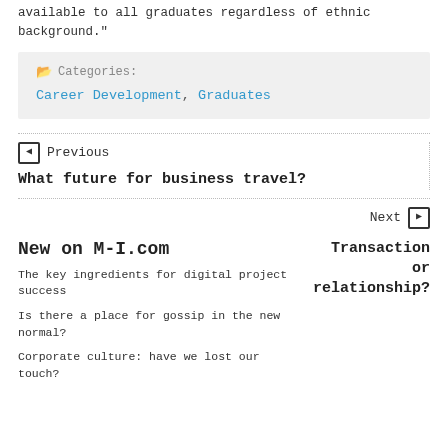available to all graduates regardless of ethnic background."
Categories: Career Development, Graduates
Previous
What future for business travel?
Next
Transaction or relationship?
New on M-I.com
The key ingredients for digital project success
Is there a place for gossip in the new normal?
Corporate culture: have we lost our touch?